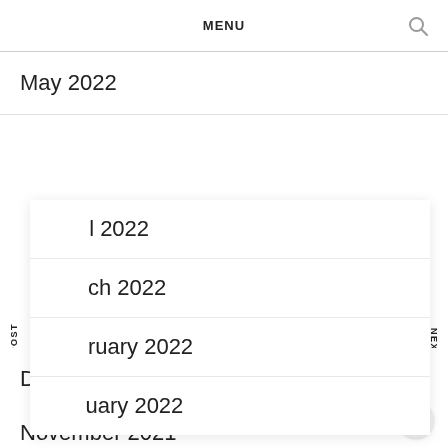MENU
May 2022
April 2022
March 2022
February 2022
January 2022
December 2021
November 2021